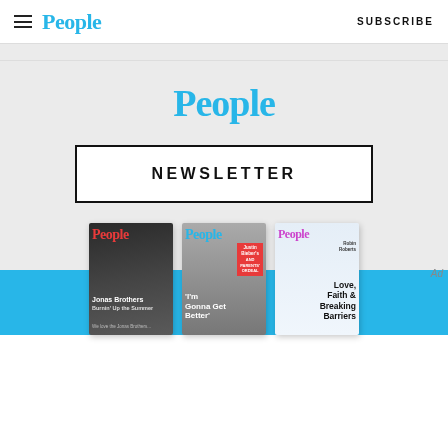People | SUBSCRIBE
[Figure (logo): People magazine logo centered in blue text]
NEWSLETTER
[Figure (illustration): Three People magazine covers: Jonas Brothers, Justin Bieber 'I'm Gonna Get Better', and Robin Roberts 'Love, Faith & Breaking Barriers']
Ad